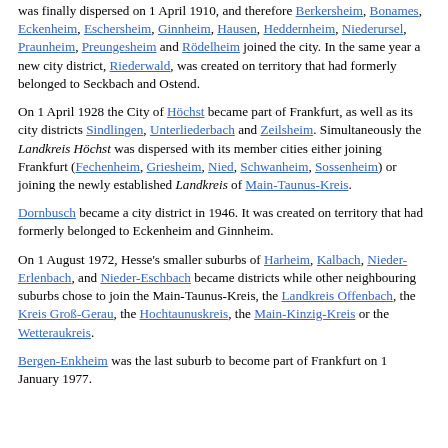was finally dispersed on 1 April 1910, and therefore Berkersheim, Bonames, Eckenheim, Eschersheim, Ginnheim, Hausen, Heddernheim, Niederursel, Praunheim, Preungesheim and Rödelheim joined the city. In the same year a new city district, Riederwald, was created on territory that had formerly belonged to Seckbach and Ostend.
On 1 April 1928 the City of Höchst became part of Frankfurt, as well as its city districts Sindlingen, Unterliederbach and Zeilsheim. Simultaneously the Landkreis Höchst was dispersed with its member cities either joining Frankfurt (Fechenheim, Griesheim, Nied, Schwanheim, Sossenheim) or joining the newly established Landkreis of Main-Taunus-Kreis.
Dornbusch became a city district in 1946. It was created on territory that had formerly belonged to Eckenheim and Ginnheim.
On 1 August 1972, Hesse's smaller suburbs of Harheim, Kalbach, Nieder-Erlenbach, and Nieder-Eschbach became districts while other neighbouring suburbs chose to join the Main-Taunus-Kreis, the Landkreis Offenbach, the Kreis Groß-Gerau, the Hochtaunuskreis, the Main-Kinzig-Kreis or the Wetteraukreis.
Bergen-Enkheim was the last suburb to become part of Frankfurt on 1 January 1977.